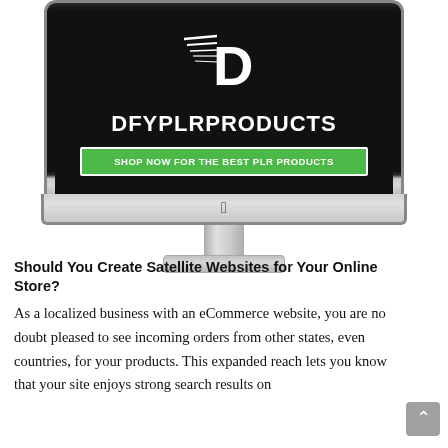[Figure (screenshot): iMac monitor displaying the DFYPLRPRODUCTS website with a black background, white bold 'D' logo with speed lines, 'DFYPLRPRODUCTS' text in white, and a green button reading 'SHOP NOW FOR THE BEST PLR PRODUCTS']
Should You Create Satellite Websites for Your Online Store?
As a localized business with an eCommerce website, you are no doubt pleased to see incoming orders from other states, even countries, for your products. This expanded reach lets you know that your site enjoys strong search results on